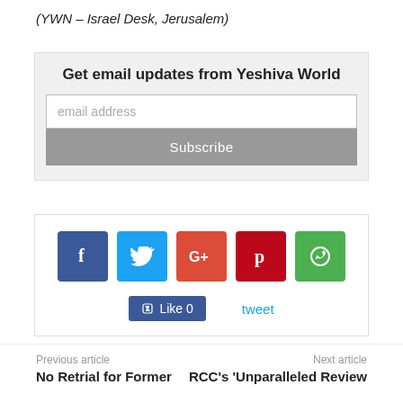(YWN – Israel Desk, Jerusalem)
Get email updates from Yeshiva World
[Figure (screenshot): Email subscription form with text input for email address and a Subscribe button]
[Figure (infographic): Social sharing buttons: Facebook, Twitter, Google+, Pinterest, WhatsApp, Like 0 button, tweet link]
Previous article
No Retrial for Former
Next article
RCC's 'Unparalleled Review